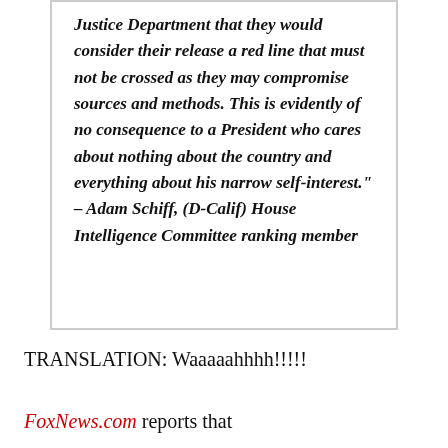Justice Department that they would consider their release a red line that must not be crossed as they may compromise sources and methods. This is evidently of no consequence to a President who cares about nothing about the country and everything about his narrow self-interest." – Adam Schiff, (D-Calif) House Intelligence Committee ranking member
TRANSLATION: Waaaaahhhh!!!!!
FoxNews.com reports that